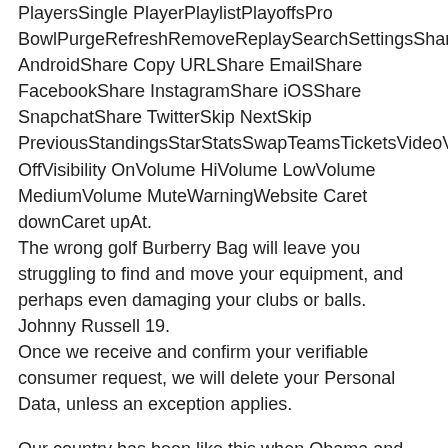PlayersSingle PlayerPlaylistPlayoffsPro BowlPurgeRefreshRemoveReplaySearchSettingsShare AndroidShare Copy URLShare EmailShare FacebookShare InstagramShare iOSShare SnapchatShare TwitterSkip NextSkip PreviousStandingsStarStatsSwapTeamsTicketsVideoVisibility OffVisibility OnVolume HiVolume LowVolume MediumVolume MuteWarningWebsite Caret downCaret upAt.
The wrong golf Burberry Bag will leave you struggling to find and move your equipment, and perhaps even damaging your clubs or balls.
Johnny Russell 19.
Once we receive and confirm your verifiable consumer request, we will delete your Personal Data, unless an exception applies.
Our country has been like this when Obama and Bush were president.
The minor league announced today that training